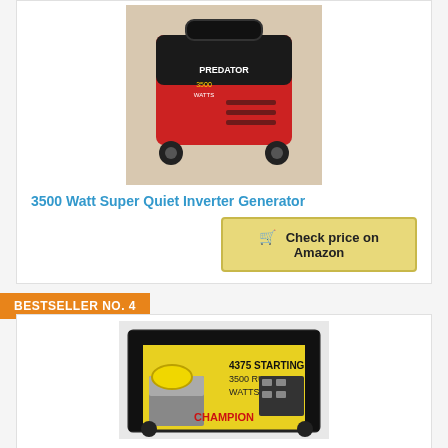[Figure (photo): Red and black inverter generator (Predator brand) on a concrete surface, top-angled view]
3500 Watt Super Quiet Inverter Generator
Check price on Amazon
BESTSELLER NO. 4
[Figure (photo): Yellow and black Champion generator (4375 starting watts / 3500 running watts) on a surface, front/side view]